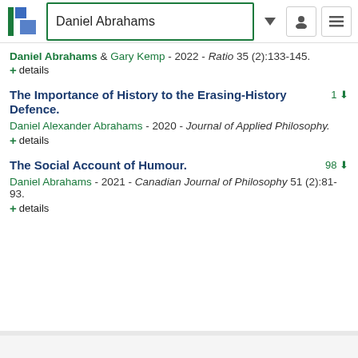Daniel Abrahams
Daniel Abrahams & Gary Kemp - 2022 - Ratio 35 (2):133-145.
+ details
The Importance of History to the Erasing-History Defence.
Daniel Alexander Abrahams - 2020 - Journal of Applied Philosophy.
+ details
The Social Account of Humour.
Daniel Abrahams - 2021 - Canadian Journal of Philosophy 51 (2):81-93.
+ details